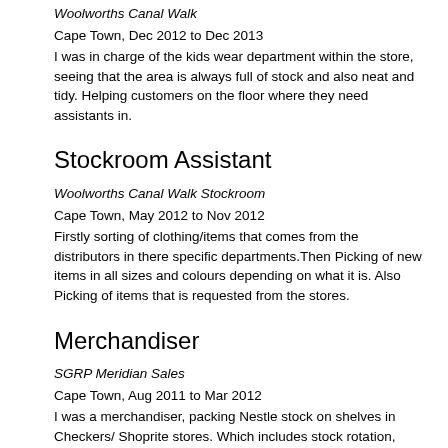Woolworths Canal Walk
Cape Town, Dec 2012 to Dec 2013
I was in charge of the kids wear department within the store, seeing that the area is always full of stock and also neat and tidy. Helping customers on the floor where they need assistants in.
Stockroom Assistant
Woolworths Canal Walk Stockroom
Cape Town, May 2012 to Nov 2012
Firstly sorting of clothing/items that comes from the distributors in there specific departments.Then Picking of new items in all sizes and colours depending on what it is. Also Picking of items that is requested from the stores.
Merchandiser
SGRP Meridian Sales
Cape Town, Aug 2011 to Mar 2012
I was a merchandiser, packing Nestle stock on shelves in Checkers/ Shoprite stores. Which includes stock rotation, checking expiry dates of products and filling up of stock.